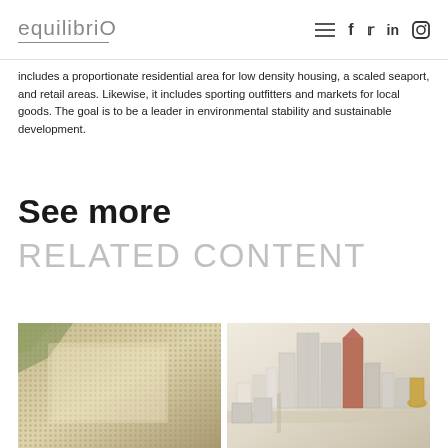equilibriO — navigation icons: hamburger menu, f, twitter, in, instagram
includes a proportionate residential area for low density housing, a scaled seaport, and retail areas. Likewise, it includes sporting outfitters and markets for local goods. The goal is to be a leader in environmental stability and sustainable development.
See more
RELATED CONTENT
[Figure (photo): Close-up of a textured architectural mesh or screen panel with greenery visible in the background]
[Figure (photo): Aerial view of an architectural city scale model with white and brown/red building blocks]